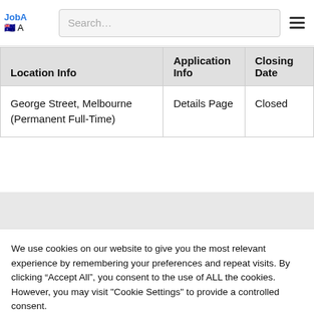JobA A | Search...
| Location Info | Application Info | Closing Date |
| --- | --- | --- |
| George Street, Melbourne (Permanent Full-Time) | Details Page | Closed |
We use cookies on our website to give you the most relevant experience by remembering your preferences and repeat visits. By clicking “Accept All”, you consent to the use of ALL the cookies. However, you may visit "Cookie Settings" to provide a controlled consent.